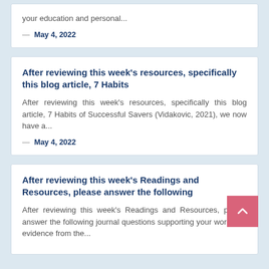your education and personal...
— May 4, 2022
After reviewing this week's resources, specifically this blog article, 7 Habits
After reviewing this week's resources, specifically this blog article, 7 Habits of Successful Savers (Vidakovic, 2021), we now have a...
— May 4, 2022
After reviewing this week's Readings and Resources, please answer the following
After reviewing this week's Readings and Resources, please answer the following journal questions supporting your work with evidence from the...